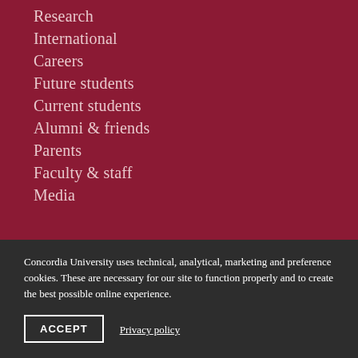Research
International
Careers
Future students
Current students
Alumni & friends
Parents
Faculty & staff
Media
Concordia University uses technical, analytical, marketing and preference cookies. These are necessary for our site to function properly and to create the best possible online experience.
ACCEPT
Privacy policy